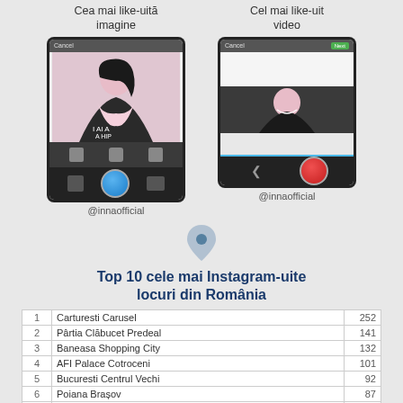Cea mai like-uită imagine
[Figure (screenshot): Screenshot of Instagram image upload screen showing a girl photo, @innaofficial]
@innaofficial
Cel mai like-uit video
[Figure (screenshot): Screenshot of Instagram video upload screen showing a girl, @innaofficial]
@innaofficial
[Figure (illustration): Location pin icon]
Top 10 cele mai Instagram-uite locuri din România
| # | Location | Count |
| --- | --- | --- |
| 1 | Carturesti Carusel | 252 |
| 2 | Pârtia Clăbucet Predeal | 141 |
| 3 | Baneasa Shopping City | 132 |
| 4 | AFI Palace Cotroceni | 101 |
| 5 | Bucuresti Centrul Vechi | 92 |
| 6 | Poiana Brașov | 87 |
| 7 | Statiunea Straja | 72 |
| 8 | Promenada | 72 |
| 9 | Cota 2000 - Sinaia | 69 |
| 10 | Aeroportul International Henri Coanda | 65 |